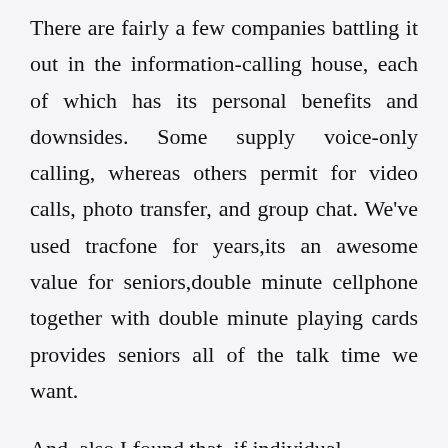There are fairly a few companies battling it out in the information-calling house, each of which has its personal benefits and downsides. Some supply voice-only calling, whereas others permit for video calls, photo transfer, and group chat. We've used tracfone for years,its an awesome value for seniors,double minute cellphone together with double minute playing cards provides seniors all of the talk time we want.
And, also I found that, if individual